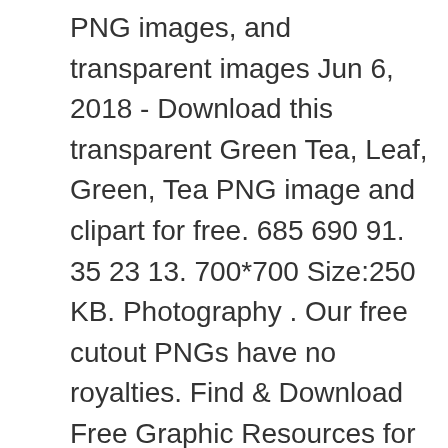PNG images, and transparent images Jun 6, 2018 - Download this transparent Green Tea, Leaf, Green, Tea PNG image and clipart for free. 685 690 91. 35 23 13. 700*700 Size:250 KB. Photography . Our free cutout PNGs have no royalties. Find & Download Free Graphic Resources for Tea Leaves. Cossyimages Ltd 16,000+ Vectors, Stock Photos & PSD files. Find & Download Free Graphic Resources for Leaf Logo. The best selection of Royalty Free Leaf Vector Art, Graphics and Stock Illustrations. Leaf on a transparent Tea Plantation Landscape. Download Green tea leaf stock photos. coffee green tea tea leaf tea leaves milk tea tea cup food juice spring breakfast pink drinking tea ice